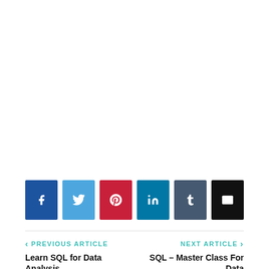[Figure (infographic): Row of 6 social media sharing buttons: Facebook (blue), Twitter (light blue), Pinterest (red), LinkedIn (dark teal), Tumblr (slate blue), Email (black)]
< PREVIOUS ARTICLE
NEXT ARTICLE >
Learn SQL for Data Analysis
SQL – Master Class For Data